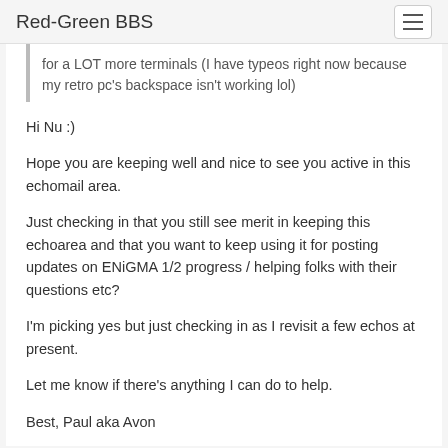Red-Green BBS
for a LOT more terminals (I have typeos right now because my retro pc's backspace isn't working lol)
Hi Nu :)
Hope you are keeping well and nice to see you active in this echomail area.
Just checking in that you still see merit in keeping this echoarea and that you want to keep using it for posting updates on ENiGMA 1/2 progress / helping folks with their questions etc?
I'm picking yes but just checking in as I revisit a few echos at present.
Let me know if there's anything I can do to help.
Best, Paul aka Avon